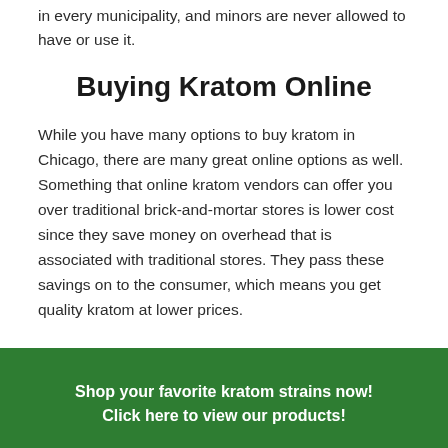in every municipality, and minors are never allowed to have or use it.
Buying Kratom Online
While you have many options to buy kratom in Chicago, there are many great online options as well. Something that online kratom vendors can offer you over traditional brick-and-mortar stores is lower cost since they save money on overhead that is associated with traditional stores. They pass these savings on to the consumer, which means you get quality kratom at lower prices.
Shop your favorite kratom strains now! Click here to view our products!